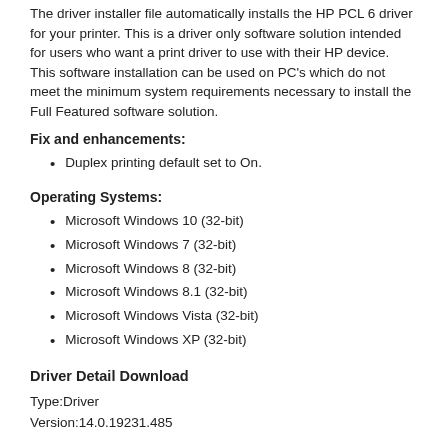The driver installer file automatically installs the HP PCL 6 driver for your printer. This is a driver only software solution intended for users who want a print driver to use with their HP device. This software installation can be used on PC's which do not meet the minimum system requirements necessary to install the Full Featured software solution.
Fix and enhancements:
Duplex printing default set to On.
Operating Systems:
Microsoft Windows 10 (32-bit)
Microsoft Windows 7 (32-bit)
Microsoft Windows 8 (32-bit)
Microsoft Windows 8.1 (32-bit)
Microsoft Windows Vista (32-bit)
Microsoft Windows XP (32-bit)
Driver Detail Download
Type:Driver
Version:14.0.19231.485